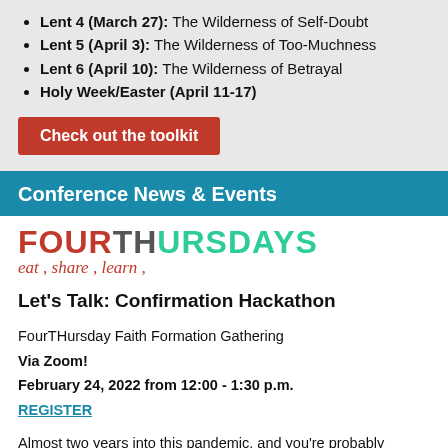Lent 4 (March 27): The Wilderness of Self-Doubt
Lent 5 (April 3): The Wilderness of Too-Muchness
Lent 6 (April 10): The Wilderness of Betrayal
Holy Week/Easter (April 11-17)
Check out the toolkit
Conference News & Events
[Figure (logo): FourTHursdays logo with tagline 'eat, share, learn,']
Let's Talk: Confirmation Hackathon
FourTHursday Faith Formation Gathering
Via Zoom!
February 24, 2022 from 12:00 - 1:30 p.m.
REGISTER
Almost two years into this pandemic, and you're probably